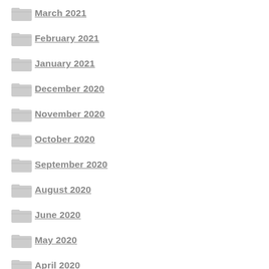March 2021
February 2021
January 2021
December 2020
November 2020
October 2020
September 2020
August 2020
June 2020
May 2020
April 2020
March 2020
February 2020